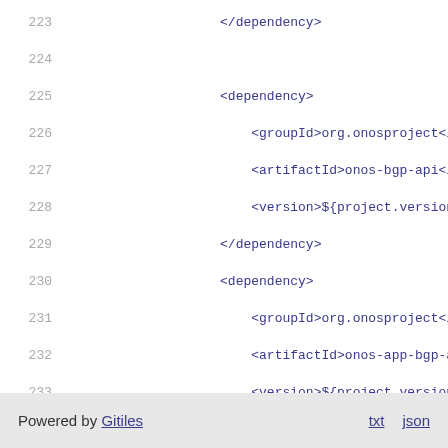223    </dependency>
224
225    <dependency>
226        <groupId>org.onosproject</groupId>
227        <artifactId>onos-bgp-api</artifactId>
228        <version>${project.version}</version>
229    </dependency>
230    <dependency>
231        <groupId>org.onosproject</groupId>
232        <artifactId>onos-app-bgp-api</artifactId>
233        <version>${project.version}</version>
234    </dependency>
235
236    </dependencies>
237    </dependencyManagement>
238
239    </project>
Powered by Gitiles   txt   json